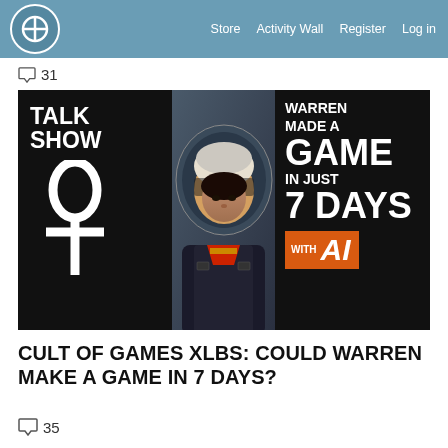Store  Activity Wall  Register  Log in
31
[Figure (screenshot): Talk Show thumbnail image featuring a woman in a pilot helmet with text: TALK SHOW, WARREN MADE A GAME IN JUST 7 DAYS WITH AI. Features an ankh symbol on the left side on black background, woman in center, text on right on black background with orange AI badge.]
CULT OF GAMES XLBS: COULD WARREN MAKE A GAME IN 7 DAYS?
35